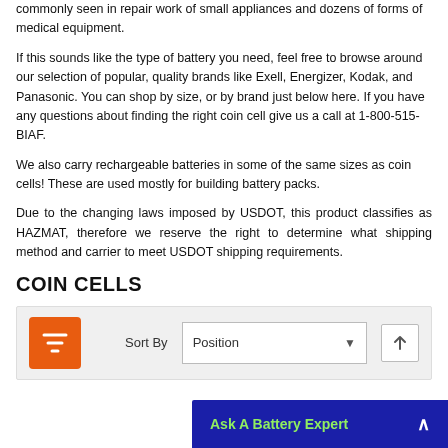commonly seen in repair work of small appliances and dozens of forms of medical equipment.
If this sounds like the type of battery you need, feel free to browse around our selection of popular, quality brands like Exell, Energizer, Kodak, and Panasonic. You can shop by size, or by brand just below here. If you have any questions about finding the right coin cell give us a call at 1-800-515-BIAF.
We also carry rechargeable batteries in some of the same sizes as coin cells! These are used mostly for building battery packs.
Due to the changing laws imposed by USDOT, this product classifies as HAZMAT, therefore we reserve the right to determine what shipping method and carrier to meet USDOT shipping requirements.
COIN CELLS
[Figure (screenshot): Filter and sort bar with orange filter icon button, Sort By label, Position dropdown, and up arrow button, on a light grey background.]
Ask A Battery Expert